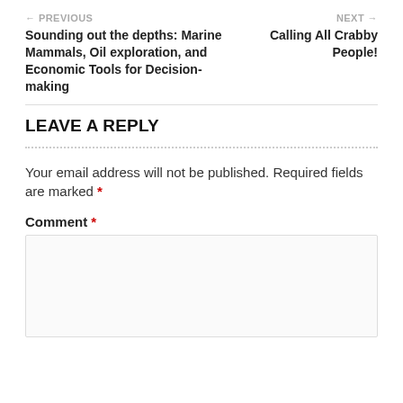← PREVIOUS
Sounding out the depths: Marine Mammals, Oil exploration, and Economic Tools for Decision-making
NEXT →
Calling All Crabby People!
LEAVE A REPLY
Your email address will not be published. Required fields are marked *
Comment *